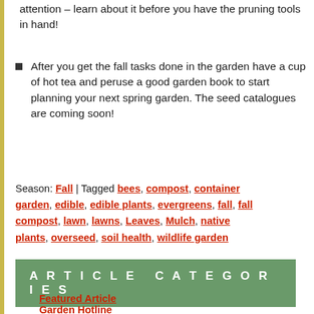attention – learn about it before you have the pruning tools in hand!
After you get the fall tasks done in the garden have a cup of hot tea and peruse a good garden book to start planning your next spring garden. The seed catalogues are coming soon!
Season: Fall | Tagged bees, compost, container garden, edible, edible plants, evergreens, fall, fall compost, lawn, lawns, Leaves, Mulch, native plants, overseed, soil health, wildlife garden
ARTICLE CATEGORIES
Featured Article
Garden Hotline
Mulching Your Garden